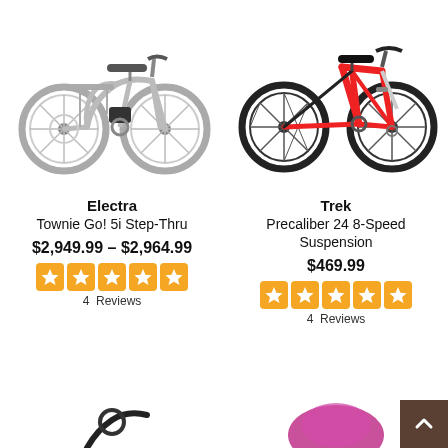[Figure (photo): Silver Electra Townie Go! 5i Step-Thru electric cruiser bicycle]
[Figure (photo): Red Trek Precaliber 24 8-Speed Suspension mountain bike]
Electra
Townie Go! 5i Step-Thru
Trek
Precaliber 24 8-Speed Suspension
$2,949.99 – $2,964.99
$469.99
4  Reviews
4  Reviews
[Figure (photo): Partial view of a bicycle handlebar at bottom left]
[Figure (photo): Partial view of a pink/magenta item at bottom right]